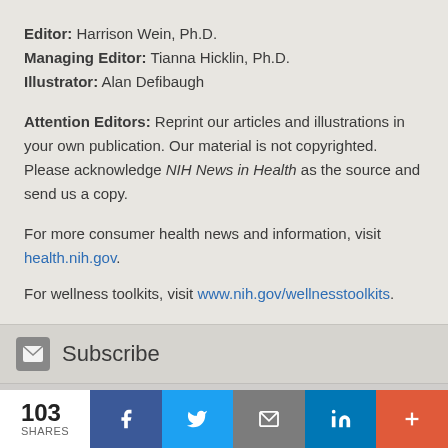Editor: Harrison Wein, Ph.D.
Managing Editor: Tianna Hicklin, Ph.D.
Illustrator: Alan Defibaugh
Attention Editors: Reprint our articles and illustrations in your own publication. Our material is not copyrighted. Please acknowledge NIH News in Health as the source and send us a copy.
For more consumer health news and information, visit health.nih.gov.
For wellness toolkits, visit www.nih.gov/wellnesstoolkits.
Subscribe
Find us on Facebook
103 SHARES